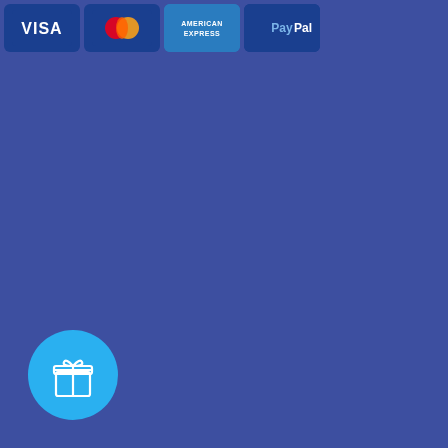[Figure (screenshot): A dark blue background screen showing payment method icons (VISA, Mastercard, American Express, PayPal) at the top, and a cyan/light-blue circular gift box button icon in the bottom-left corner.]